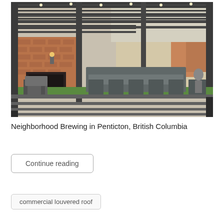[Figure (photo): Outdoor patio of Neighborhood Brewing in Penticton, British Columbia. The space features a covered louvered roof structure with string lights, brick accent wall with wall sconce, Adirondack chairs, long picnic-style tables with chairs, metal railings in the foreground, and a street view in the background with parked cars and buildings.]
Neighborhood Brewing in Penticton, British Columbia
Continue reading
commercial louvered roof